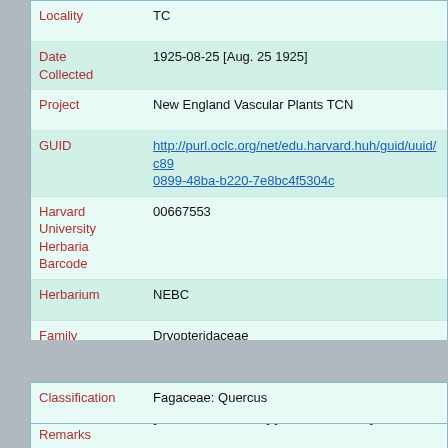| Field | Value |
| --- | --- |
| Locality | TC |
| Date Collected | 1925-08-25 [Aug. 25 1925] |
| Project | New England Vascular Plants TCN |
| GUID | http://purl.oclc.org/net/edu.harvard.huh/guid/uuid/c89...0899-48ba-b220-7e8bc4f5304c |
| Harvard University Herbaria Barcode | 00667553 |
| Herbarium | NEBC |
| Family | Dryopteridaceae |
| Determination | Dryopteris campyloptera (Kunze) Clarkson |
| Determination Remarks | [is filed under name] [is Current name] |
| Preparation Type | Sheet |
| Preparation Method | Pressed |
| Field | Value |
| --- | --- |
| Classification | Fagaceae: Quercus |